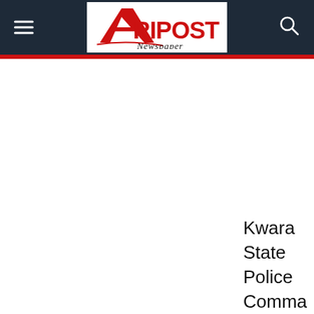Afripost Newspaper
Kwara State Police Comma